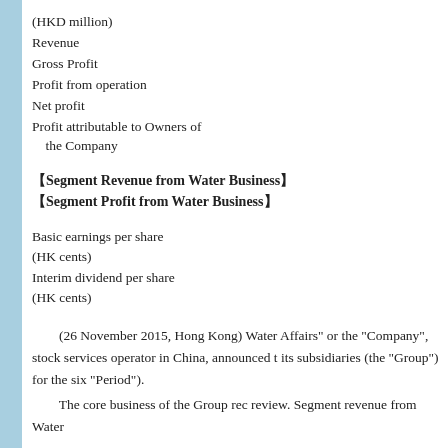(HKD million)
Revenue
Gross Profit
Profit from operation
Net profit
Profit attributable to Owners of the Company
【Segment Revenue from Water Business】
【Segment Profit from Water Business】
Basic earnings per share (HK cents)
Interim dividend per share (HK cents)
(26 November 2015, Hong Kong) Water Affairs" or the "Company", stock services operator in China, announced t its subsidiaries (the "Group") for the six "Period").
The core business of the Group rec review. Segment revenue from Water